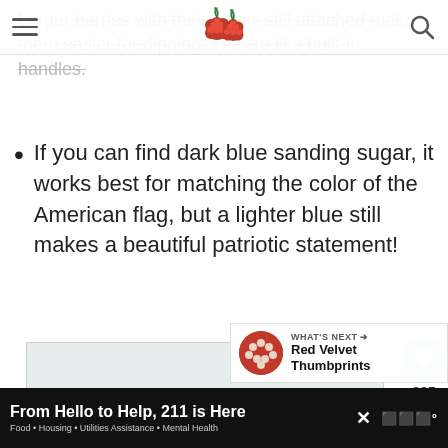Navigation bar with hamburger menu, raspberry logo, and search icon
Larger berries with their stems still attached make them easier for dipping. They're like built-in handles.
If you can find dark blue sanding sugar, it works best for matching the color of the American flag, but a lighter blue still makes a beautiful patriotic statement!
[Figure (photo): Image carousel placeholder with navigation dots]
985
[Figure (photo): What's Next panel showing Red Velvet Thumbprints with thumbnail]
From Hello to Help, 211 is Here – Food • Housing • Utilities Assistance • Mental Health